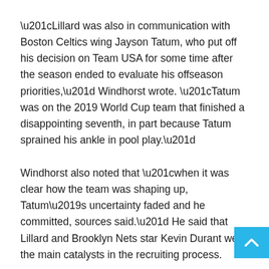“Lillard was also in communication with Boston Celtics wing Jayson Tatum, who put off his decision on Team USA for some time after the season ended to evaluate his offseason priorities,” Windhorst wrote. “Tatum was on the 2019 World Cup team that finished a disappointing seventh, in part because Tatum sprained his ankle in pool play.”
Windhorst also noted that “when it was clear how the team was shaping up, Tatum’s uncertainty faded and he committed, sources said.” He said that Lillard and Brooklyn Nets star Kevin Durant were the main catalysts in the recruiting process.
Team USA went on to win a gold medal at the Olympics, but that wasn’t the last time Tatum and Lillard found themselves connected. With the Trail Blazers’ uncertain future, Lillard’s name has been thrown around in trade rumors, and the Celtics